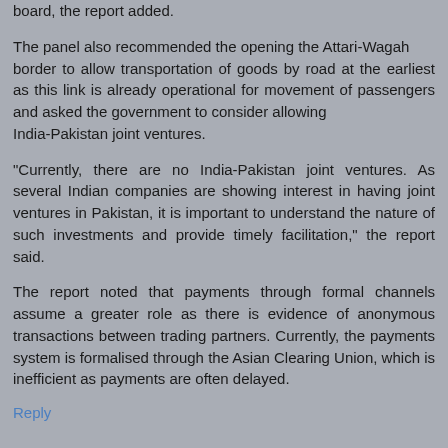board, the report added.
The panel also recommended the opening the Attari-Wagah border to allow transportation of goods by road at the earliest as this link is already operational for movement of passengers and asked the government to consider allowing India-Pakistan joint ventures.
"Currently, there are no India-Pakistan joint ventures. As several Indian companies are showing interest in having joint ventures in Pakistan, it is important to understand the nature of such investments and provide timely facilitation," the report said.
The report noted that payments through formal channels assume a greater role as there is evidence of anonymous transactions between trading partners. Currently, the payments system is formalised through the Asian Clearing Union, which is inefficient as payments are often delayed.
Reply